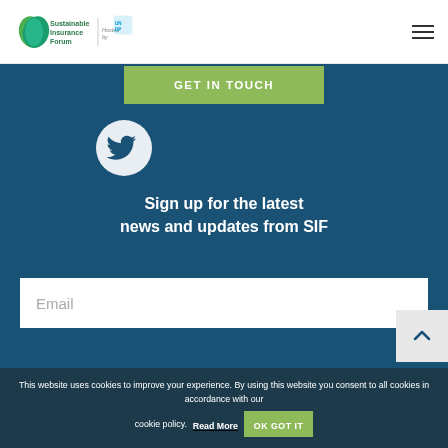[Figure (logo): Sustainable Insurance Forum logo with green leaf icon and text, hosted by UNDP logo]
[Figure (logo): Hamburger menu icon (three horizontal lines)]
GET IN TOUCH
[Figure (illustration): Twitter bird icon in a white circle on dark blue background]
Sign up for the latest news and updates from SIF
Email
This website uses cookies to improve your experience. By using this website you consent to all cookies in accordance with our cookie policy. Read More OK GOT IT